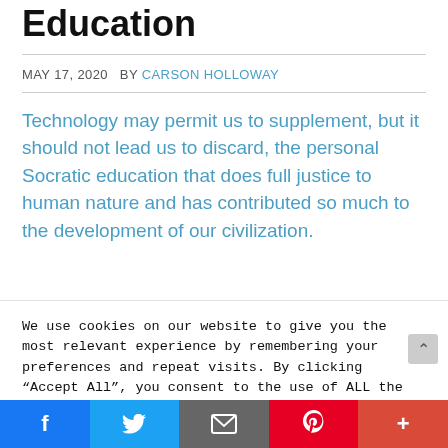Education
MAY 17, 2020  BY CARSON HOLLOWAY
Technology may permit us to supplement, but it should not lead us to discard, the personal Socratic education that does full justice to human nature and has contributed so much to the development of our civilization.
We use cookies on our website to give you the most relevant experience by remembering your preferences and repeat visits. By clicking “Accept All”, you consent to the use of ALL the cookies. However, you may visit "Cookie Settings" to provide a controlled consent.